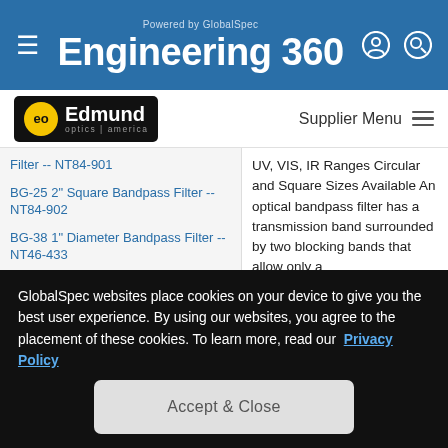Engineering 360 — Powered by GlobalSpec
[Figure (logo): Edmund Optics America logo — black background with yellow EO badge]
Filter -- NT84-901
BG-25 2" Square Bandpass Filter -- NT84-902
BG-38 1" Diameter Bandpass Filter -- NT46-433
BG-38 2" Square Bandpass Filter -- NT46-434
Bandpass Filter Kit 1" Diameter -- NT55-744
UV, VIS, IR Ranges Circular and Square Sizes Available An optical bandpass filter has a transmission band surrounded by two blocking bands that allow only a
GlobalSpec websites place cookies on your device to give you the best user experience. By using our websites, you agree to the placement of these cookies. To learn more, read our Privacy Policy
Accept & Close